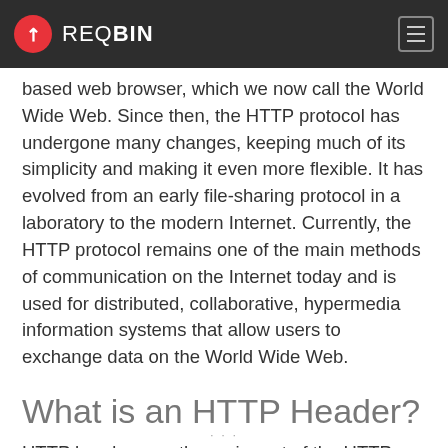REQBIN
based web browser, which we now call the World Wide Web. Since then, the HTTP protocol has undergone many changes, keeping much of its simplicity and making it even more flexible. It has evolved from an early file-sharing protocol in a laboratory to the modern Internet. Currently, the HTTP protocol remains one of the main methods of communication on the Internet today and is used for distributed, collaborative, hypermedia information systems that allow users to exchange data on the World Wide Web.
What is an HTTP Header?
HTTP headers are the main part of the HTTP protocol and allow clients and servers to pass additional information along with the data to the second party, allowing them to receive and process the data correctly. For example, HTTP